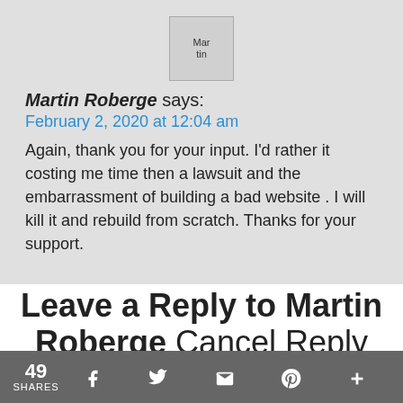[Figure (photo): Avatar image placeholder for Martin Roberge]
Martin Roberge says:
February 2, 2020 at 12:04 am
Again, thank you for your input. I'd rather it costing me time then a lawsuit and the embarrassment of building a bad website . I will kill it and rebuild from scratch. Thanks for your support.
Leave a Reply to Martin Roberge Cancel Reply
49 SHARES  f  Twitter  Email  Pinterest  +